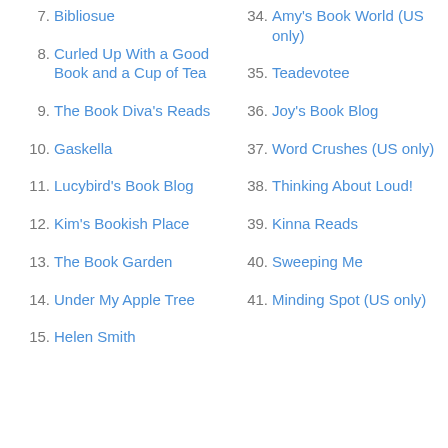7. Bibliosue
8. Curled Up With a Good Book and a Cup of Tea
9. The Book Diva's Reads
10. Gaskella
11. Lucybird's Book Blog
12. Kim's Bookish Place
13. The Book Garden
14. Under My Apple Tree
15. Helen Smith
34. Amy's Book World (US only)
35. Teadevotee
36. Joy's Book Blog
37. Word Crushes (US only)
38. Thinking About Loud!
39. Kinna Reads
40. Sweeping Me
41. Minding Spot (US only)